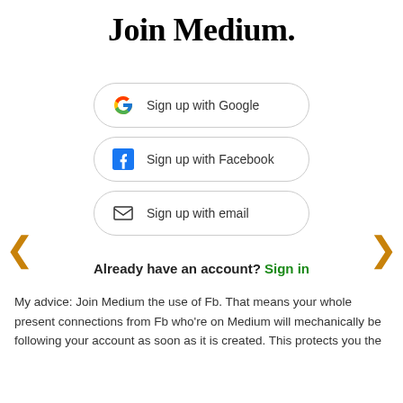Join Medium.
[Figure (screenshot): Sign up with Google button with Google G logo]
[Figure (screenshot): Sign up with Facebook button with Facebook F logo]
[Figure (screenshot): Sign up with email button with envelope icon]
Already have an account? Sign in
My advice: Join Medium the use of Fb. That means your whole present connections from Fb who're on Medium will mechanically be following your account as soon as it is created. This protects you the